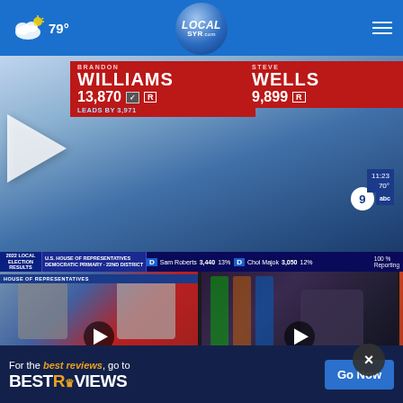79° LOCALsyr.com
[Figure (screenshot): Election night broadcast screenshot showing Brandon Williams with 13,870 votes leading by 3,971 over Steve Wells with 9,899 votes, both Republican candidates]
U.S. HOUSE OF REPRESENTATIVES DEMOCRATIC PRIMARY - 22ND DISTRICT | Sam Roberts 3,440 13% | D | Chol Majok 3,050 12% | 100% Reporting
[Figure (screenshot): Video thumbnail: Brandon Williams victory live interview]
Brandon Williams victory live interview
49 mins ago
[Figure (screenshot): Video thumbnail: Opening Day: The Great New York State Fair live]
Opening Day: The Great New York State Fair liv...
4 hours ago
[Figure (screenshot): Partial video thumbnail: Opening Day New York]
Openi...
New Yo...
More Videos ▶
[Figure (advertisement): BestReviews ad banner: For the best reviews, go to BESTREVIEWS with Go Now button]